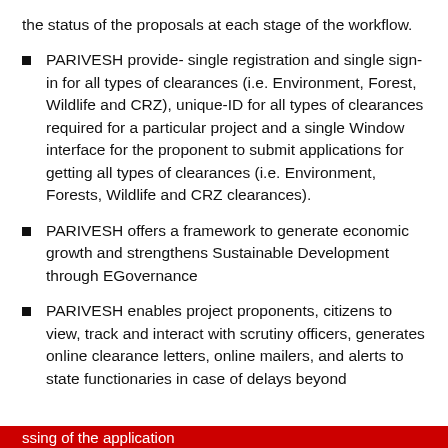the status of the proposals at each stage of the workflow.
PARIVESH provide- single registration and single sign-in for all types of clearances (i.e. Environment, Forest, Wildlife and CRZ), unique-ID for all types of clearances required for a particular project and a single Window interface for the proponent to submit applications for getting all types of clearances (i.e. Environment, Forests, Wildlife and CRZ clearances).
PARIVESH offers a framework to generate economic growth and strengthens Sustainable Development through EGovernance
PARIVESH enables project proponents, citizens to view, track and interact with scrutiny officers, generates online clearance letters, online mailers, and alerts to state functionaries in case of delays beyond stipulated timelines for processing of the application
ssing of the application